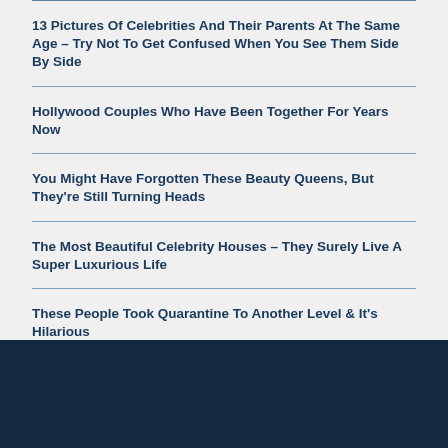13 Pictures Of Celebrities And Their Parents At The Same Age – Try Not To Get Confused When You See Them Side By Side
Hollywood Couples Who Have Been Together For Years Now
You Might Have Forgotten These Beauty Queens, But They're Still Turning Heads
The Most Beautiful Celebrity Houses – They Surely Live A Super Luxurious Life
These People Took Quarantine To Another Level & It's Hilarious